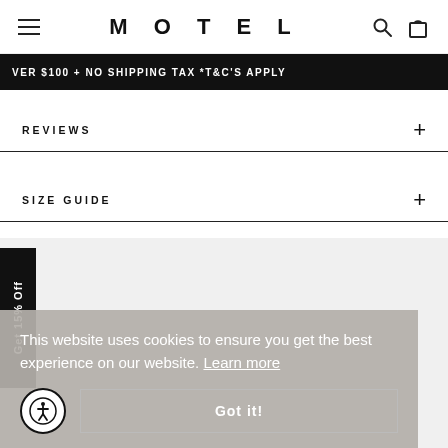MOTEL
VER $100 + NO SHIPPING TAX *T&C's apply
REVIEWS +
SIZE GUIDE +
Get 15% Off
This website uses cookies to ensure you get the best experience on our website. Learn more
Got it!